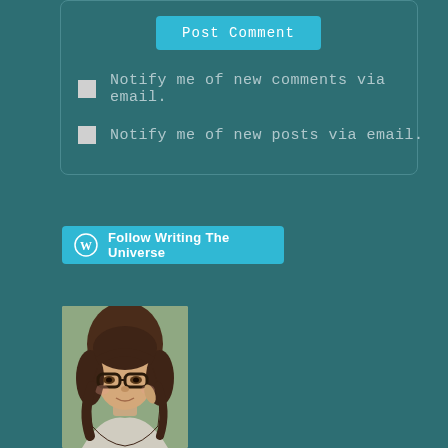[Figure (screenshot): Form box with Post Comment button and two checkbox options for email notifications]
Post Comment
Notify me of new comments via email.
Notify me of new posts via email.
[Figure (infographic): Follow Writing The Universe button with WordPress logo]
[Figure (photo): Profile photo of a young woman with brown hair and glasses wearing a light grey top]